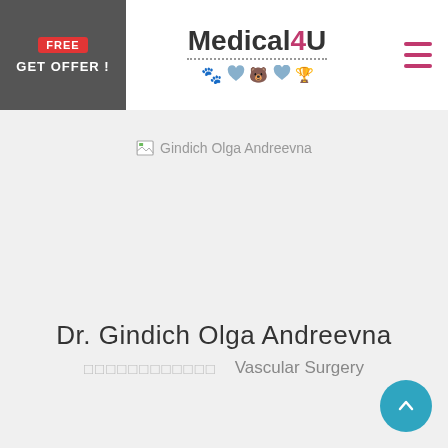[Figure (logo): Medical4U logo with medical icons]
[Figure (photo): Broken image placeholder for Gindich Olga Andreevna]
Dr. Gindich Olga Andreevna
□□□□□□□□□□□□   Vascular Surgery